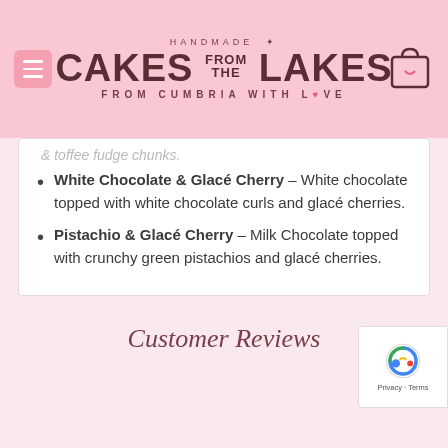HANDMADE CAKES FROM THE LAKES — FROM CUMBRIA WITH LOVE
& toffee fudge chunks.
White Chocolate & Glacé Cherry – White chocolate topped with white chocolate curls and glacé cherries.
Pistachio & Glacé Cherry – Milk Chocolate topped with crunchy green pistachios and glacé cherries.
Customer Reviews